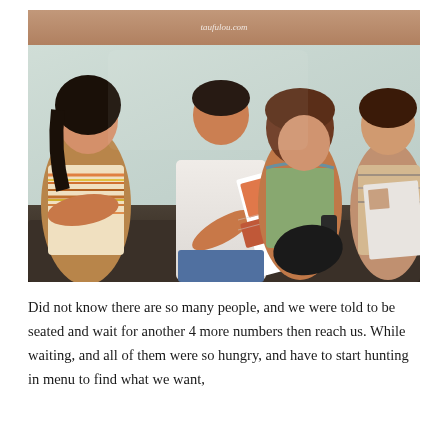[Figure (photo): People seated and waiting, looking at restaurant menus. A man in the center holds up a colorful food menu, a woman to his left sits with arms crossed, and two women to his right also browse menus. A watermark reads 'taufulou.com' at the top.]
Did not know there are so many people, and we were told to be seated and wait for another 4 more numbers then reach us. While waiting, and all of them were so hungry, and have to start hunting in menu to find what we want,